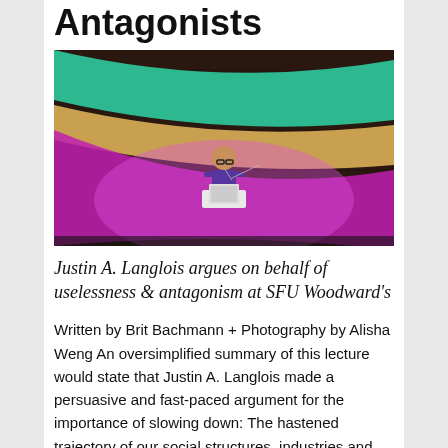Antagonists
[Figure (photo): A speaker presenting at a podium with a laptop in front of a colorful projected backdrop featuring green, purple, and orange curves on a brick wall background.]
Justin A. Langlois argues on behalf of uselessness & antagonism at SFU Woodward's
Written by Brit Bachmann + Photography by Alisha Weng An oversimplified summary of this lecture would state that Justin A. Langlois made a persuasive and fast-paced argument for the importance of slowing down: The hastened trajectory of our social structures, industries and art practices cannot be sustained. We must reject the modern concept of time efficiency and